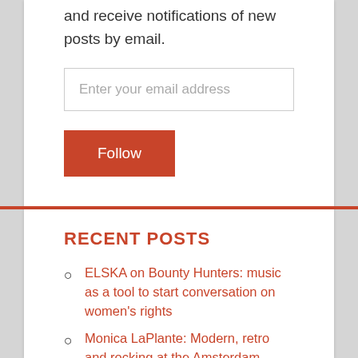and receive notifications of new posts by email.
Enter your email address
Follow
RECENT POSTS
ELSKA on Bounty Hunters: music as a tool to start conversation on women's rights
Monica LaPlante: Modern, retro and rocking at the Amsterdam
Opens Today: Piotr Szyhalski: We Are